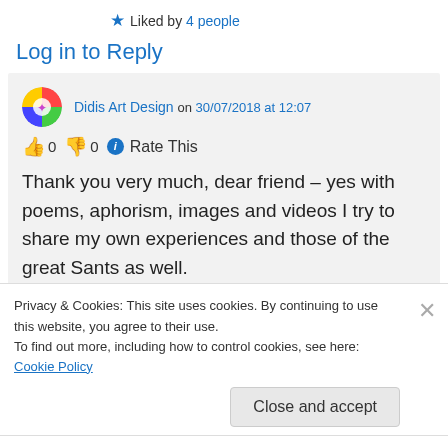★ Liked by 4 people
Log in to Reply
Didis Art Design on 30/07/2018 at 12:07
👍 0 👎 0 ℹ Rate This
Thank you very much, dear friend – yes with poems, aphorism, images and videos I try to share my own experiences and those of the great Sants as well.
Privacy & Cookies: This site uses cookies. By continuing to use this website, you agree to their use.
To find out more, including how to control cookies, see here: Cookie Policy
Close and accept